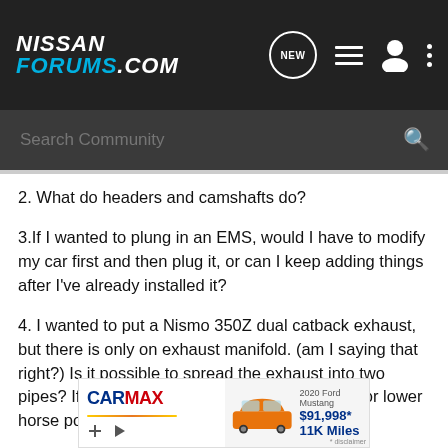NISSAN FORUMS.COM — Search Community
2. What do headers and camshafts do?
3.If I wanted to plung in an EMS, would I have to modify my car first and then plug it, or can I keep adding things after I've already installed it?
4. I wanted to put a Nismo 350Z dual catback exhaust, but there is only on exhaust manifold. (am I saying that right?) Is it possible to spread the exhaust into two pipes? If so, does it do anything to either boost or lower horse power?
5. What is a short shifter and what does it do?
[Figure (advertisement): CarMax advertisement showing a 2020 Ford Mustang for $91,998* with 11K Miles]